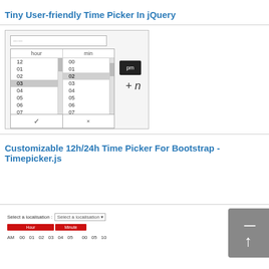Tiny User-friendly Time Picker In jQuery
[Figure (screenshot): Screenshot of a jQuery time picker widget showing hour and minute scroll columns with values 12, 01, 02, 03 (selected), 04, 05, 06, 07, and minutes 00, 01, 02 (selected), 03, 04, 05, 06, 07. Has a pm button and ok/cancel footer. Shows '+ n' text to the right.]
Customizable 12h/24h Time Picker For Bootstrap - Timepicker.js
[Figure (screenshot): Screenshot of Bootstrap Timepicker.js showing a localisation selector dropdown, red Hour and Minute column headers, and AM row with numbers 00, 01, 02, 03, 04, 05, 00, 05, 10. There is a grey upload/back-to-top button on the right.]